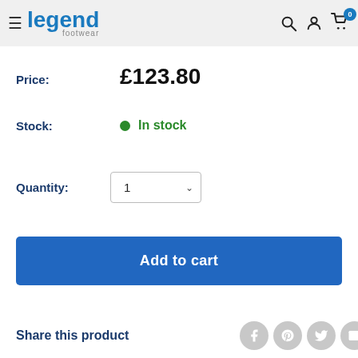[Figure (screenshot): Legend Footwear website header with hamburger menu, logo, search icon, user icon, and cart icon with badge showing 0]
Price: £123.80
Stock: In stock
Quantity: 1
Add to cart
Share this product